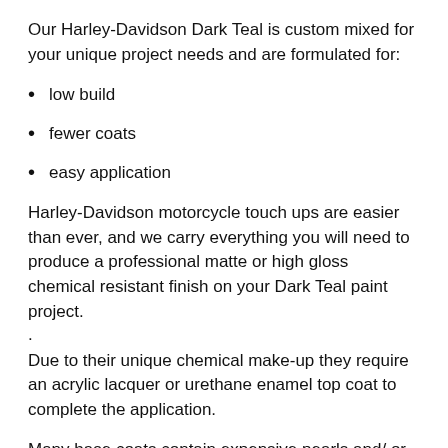Our Harley-Davidson Dark Teal is custom mixed for your unique project needs and are formulated for:
low build
fewer coats
easy application
Harley-Davidson motorcycle touch ups are easier than ever, and we carry everything you will need to produce a professional matte or high gloss chemical resistant finish on your Dark Teal paint project.
.
Due to their unique chemical make-up they require an acrylic lacquer or urethane enamel top coat to complete the application.
Many base coats contain expensive pearls and/ or special flakes required for formulating the Harley-Davidson OEM color to match your Harley-Davidson